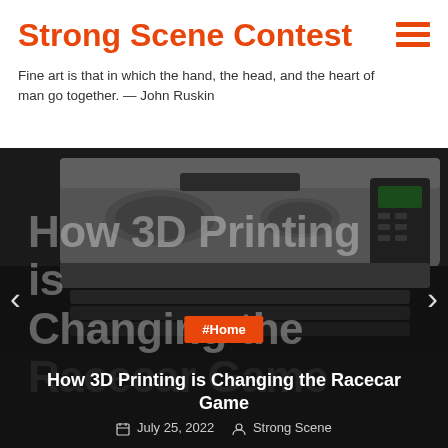Strong Scene Contest
Fine art is that in which the hand, the head, and the heart of man go together. — John Ruskin
[Figure (screenshot): Slideshow banner showing a large-format 3D/industrial printer in grayscale. Overlaid ghost text reads 'How 3D Printing is Changing the Racecar Game'. A left arrow and right arrow navigation are visible on the sides. An orange '#Home' tag badge appears in the center. Below the image area is a darker caption band with article title and metadata.]
How 3D Printing is Changing the Racecar Game
July 25, 2022   Strong Scene